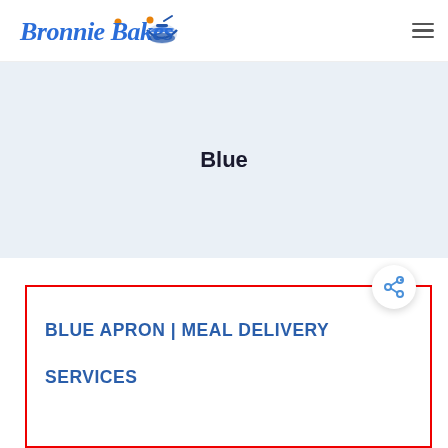[Figure (logo): Bronnie Bakes logo with blue cursive text and bowl icon with orange dots]
Blue
BLUE APRON | MEAL DELIVERY SERVICES